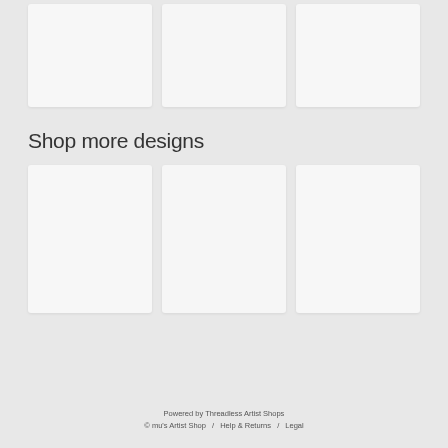[Figure (other): Three blank/white placeholder product image cards in a top row grid]
Shop more designs
[Figure (other): Three blank/white placeholder product image cards in a bottom row grid]
Powered by Threadless Artist Shops
© mu's Artist Shop  /   Help & Returns  /   Legal